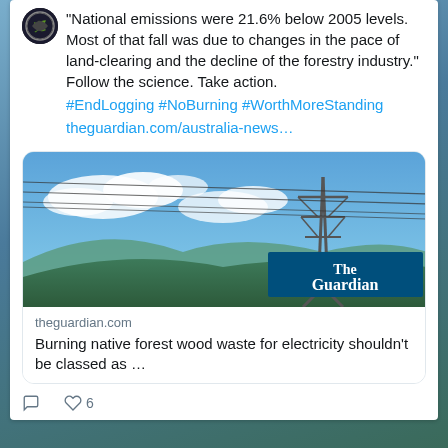"National emissions were 21.6% below 2005 levels. Most of that fall was due to changes in the pace of land-clearing and the decline of the forestry industry." Follow the science. Take action.
#EndLogging #NoBurning #WorthMoreStanding theguardian.com/australia-news…
[Figure (screenshot): Link card showing The Guardian article with a photo of power lines against a blue sky with clouds. Guardian logo in bottom right. Domain: theguardian.com. Title: Burning native forest wood waste for electricity shouldn't be classed as …]
6